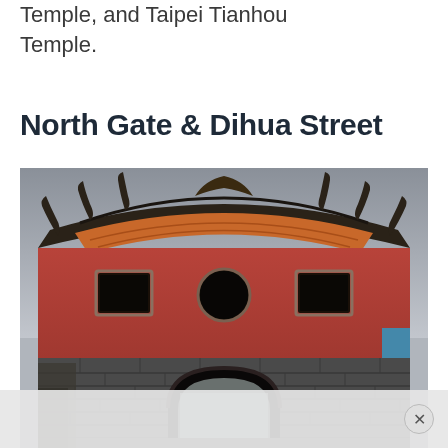Temple, and Taipei Tianhou Temple.
North Gate & Dihua Street
[Figure (photo): Photograph of the North Gate (Chengmen) in Taipei, Taiwan. The gate features a distinctive curved traditional Chinese roofline with upturned eaves at top, a large red-painted upper wall section with two small rectangular windows and a circular opening in the center, and a massive dark stone base with an arched tunnel passage through the middle.]